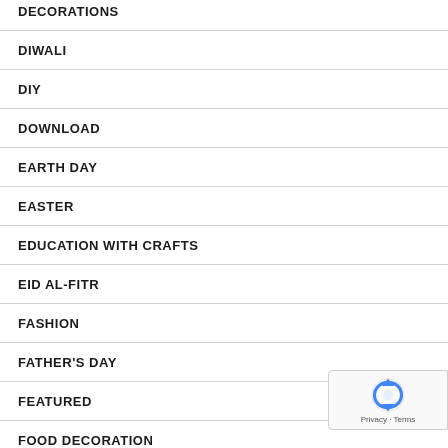DECORATIONS
DIWALI
DIY
DOWNLOAD
EARTH DAY
EASTER
EDUCATION WITH CRAFTS
EID AL-FITR
FASHION
FATHER'S DAY
FEATURED
FOOD DECORATION